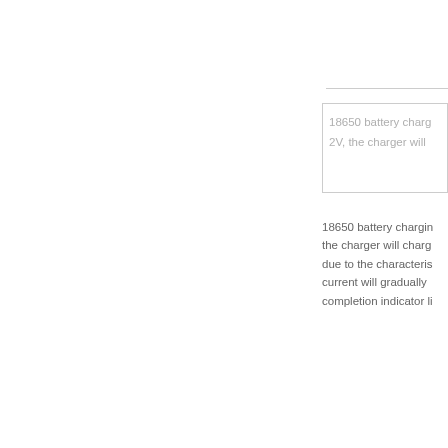18650 battery charg 2V, the charger will
18650 battery charging the charger will charg due to the characteris current will gradually completion indicator li